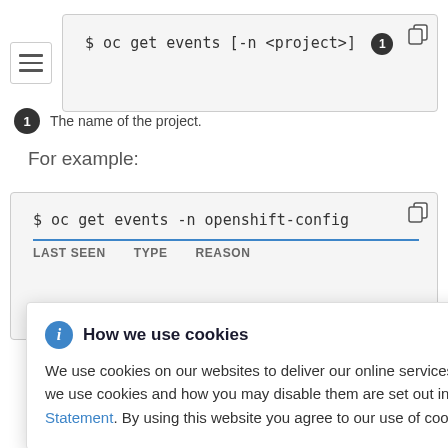[Figure (screenshot): Code block showing: $ oc get events [-n <project>] with a callout badge 1 and a copy icon in the top right corner, and a menu/hamburger icon to the left]
1  The name of the project.
For example:
[Figure (screenshot): Code block showing: $ oc get events -n openshift-config with a table header row LAST SEEN  TYPE  REASON, copy icon top right, partially visible column header text truncated at right edge]
[Figure (screenshot): Cookie consent banner overlay: blue info icon, bold title 'How we use cookies', close X button, body text about cookie usage with a Privacy Statement hyperlink]
OpenShift Container Platform console.